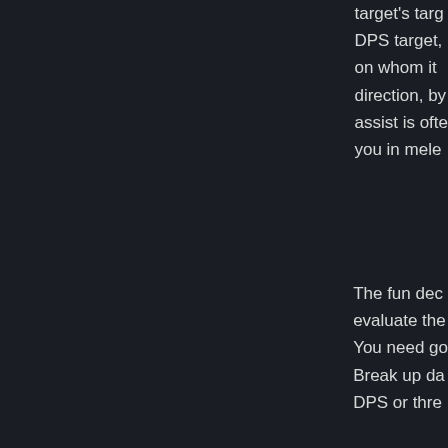target's targ DPS target, on whom it direction, by assist is ofte you in mele
The fun dec evaluate the You need go Break up da DPS or thre
The same is Battlefield a use Last Sta 50% damag Way every 5
On to legen and a buff s melee skills stick, but tha rating, + on hander for ta